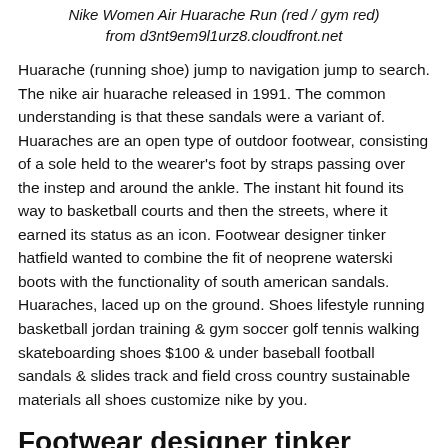Nike Women Air Huarache Run (red / gym red) from d3nt9em9l1urz8.cloudfront.net
Huarache (running shoe) jump to navigation jump to search. The nike air huarache released in 1991. The common understanding is that these sandals were a variant of. Huaraches are an open type of outdoor footwear, consisting of a sole held to the wearer's foot by straps passing over the instep and around the ankle. The instant hit found its way to basketball courts and then the streets, where it earned its status as an icon. Footwear designer tinker hatfield wanted to combine the fit of neoprene waterski boots with the functionality of south american sandals. Huaraches, laced up on the ground. Shoes lifestyle running basketball jordan training & gym soccer golf tennis walking skateboarding shoes $100 & under baseball football sandals & slides track and field cross country sustainable materials all shoes customize nike by you.
Footwear designer tinker hatfield